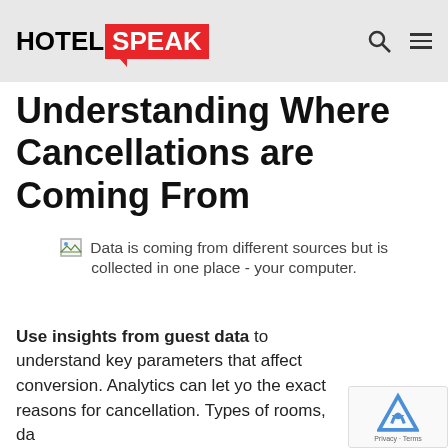HOTEL SPEAK
Understanding Where Cancellations are Coming From
Data is coming from different sources but is collected in one place - your computer.
Use insights from guest data to understand key parameters that affect conversion. Analytics can let you the exact reasons for cancellation. Types of rooms, da...